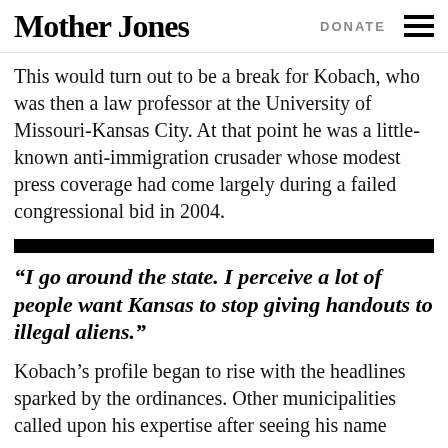Mother Jones | DONATE
This would turn out to be a break for Kobach, who was then a law professor at the University of Missouri-Kansas City. At that point he was a little-known anti-immigration crusader whose modest press coverage had come largely during a failed congressional bid in 2004.
“I go around the state. I perceive a lot of people want Kansas to stop giving handouts to illegal aliens.”
Kobach’s profile began to rise with the headlines sparked by the ordinances. Other municipalities called upon his expertise after seeing his name